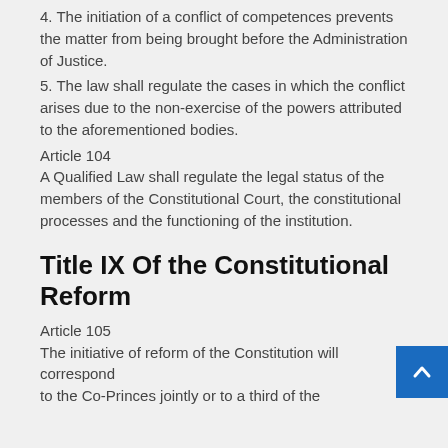4. The initiation of a conflict of competences prevents the matter from being brought before the Administration of Justice.
5. The law shall regulate the cases in which the conflict arises due to the non-exercise of the powers attributed to the aforementioned bodies.
Article 104
A Qualified Law shall regulate the legal status of the members of the Constitutional Court, the constitutional processes and the functioning of the institution.
Title IX Of the Constitutional Reform
Article 105
The initiative of reform of the Constitution will correspond to the Co-Princes jointly or to a third of the